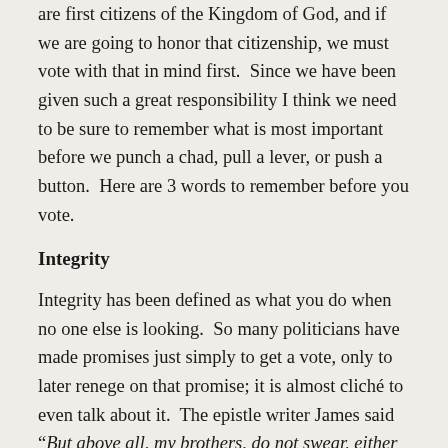are first citizens of the Kingdom of God, and if we are going to honor that citizenship, we must vote with that in mind first.  Since we have been given such a great responsibility I think we need to be sure to remember what is most important before we punch a chad, pull a lever, or push a button.  Here are 3 words to remember before you vote.
Integrity
Integrity has been defined as what you do when no one else is looking.  So many politicians have made promises just simply to get a vote, only to later renege on that promise; it is almost cliché to even talk about it.  The epistle writer James said “But above all, my brothers, do not swear, either by heaven or by earth or by any other oath, but let your ‘yes’ be yes and your ‘no’ be no, so that you may not fall under condemnation” (James 5:12).  Integrity is a quality that we should be looking for in a presidential candidate . . . even if the person is saying something that we disagree with, we should at least